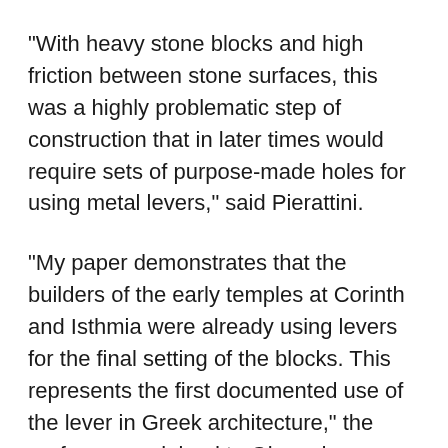“With heavy stone blocks and high friction between stone surfaces, this was a highly problematic step of construction that in later times would require sets of purpose-made holes for using metal levers,” said Pierattini.
“My paper demonstrates that the builders of the early temples at Corinth and Isthmia were already using levers for the final setting of the blocks. This represents the first documented use of the lever in Greek architecture,” the professor explained to Gizmodo.